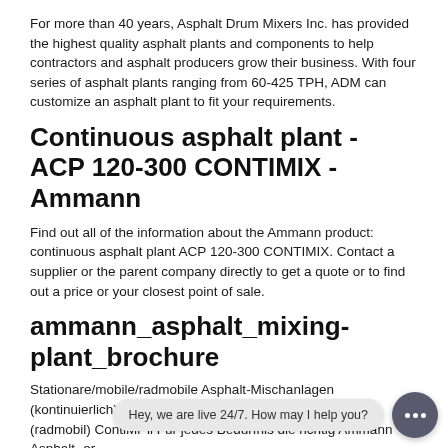For more than 40 years, Asphalt Drum Mixers Inc. has provided the highest quality asphalt plants and components to help contractors and asphalt producers grow their business. With four series of asphalt plants ranging from 60-425 TPH, ADM can customize an asphalt plant to fit your requirements.
Continuous asphalt plant - ACP 120-300 CONTIMIX - Ammann
Find out all of the information about the Ammann product: continuous asphalt plant ACP 120-300 CONTIMIX. Contact a supplier or the parent company directly to get a quote or to find out a price or your closest point of sale.
ammann_asphalt_mixing-plant_brochure
Stationare/mobile/radmobile Asphalt-Mischanlagen (kontinuierlich) ColdMixl (radmobil) Cold Mix 11 ContiMixl (radmobil) ContiMixll Für jedes Bedürfnis die richtig Ammann Asphalt-er